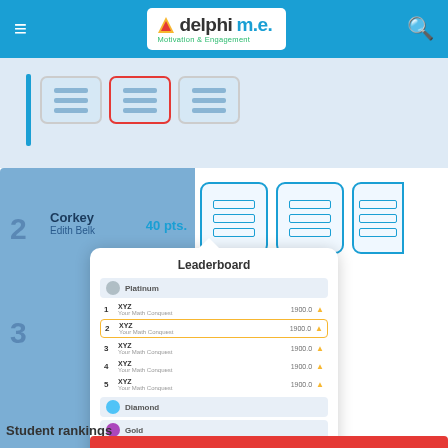[Figure (screenshot): Adelphi M.E. (Motivation & Engagement) app header with blue navigation bar, hamburger menu, logo, and search icon]
[Figure (screenshot): Partial screenshot showing top area with navigation buttons (some with red border), icon buttons, and a blue left panel with student rank 2 (Corkey / Edith Belk, 40 pts) and rank 3, with a Leaderboard popup showing Platinum tier, 5 ranked entries, Diamond, Gold, Silver, Bronze tiers, and 'Student rankings' text below]